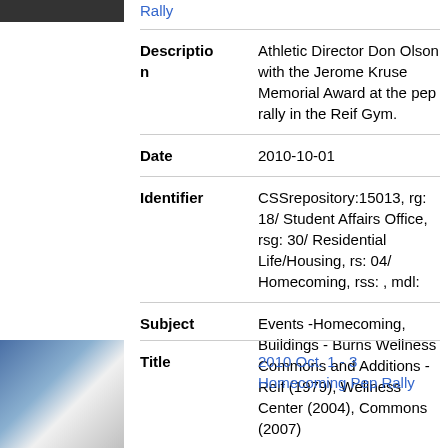[Figure (photo): Partial photo at top left, partially visible]
Rally
| Description | Athletic Director Don Olson with the Jerome Kruse Memorial Award at the pep rally in the Reif Gym. |
| Date | 2010-10-01 |
| Identifier | CSSrepository:15013, rg: 18/ Student Affairs Office, rsg: 30/ Residential Life/Housing, rs: 04/ Homecoming, rss: , mdl: |
| Subject | Events -Homecoming, Buildings - Burns Wellness Commons and Additions - Reif (1979), Wellness Center (2004), Commons (2007) |
[Figure (photo): Photo of two people in homecoming attire at bottom left]
| Title | 2010 Oct. 1 - 3 Homecoming Pep Rally |